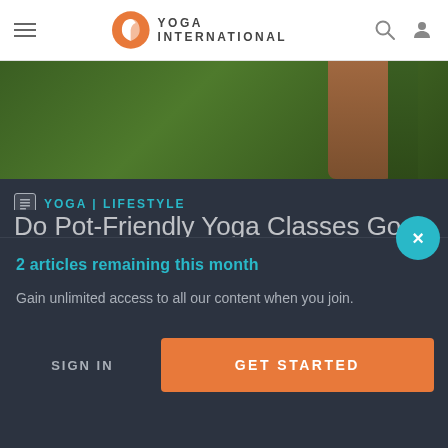Yoga International
[Figure (photo): Hero background image showing green foliage and a partial view of a person's arm/hand]
YOGA | LIFESTYLE
Do Pot-Friendly Yoga Classes Go Too Far?
2 articles remaining this month
Gain unlimited access to all our content when you join.
SIGN IN
GET STARTED